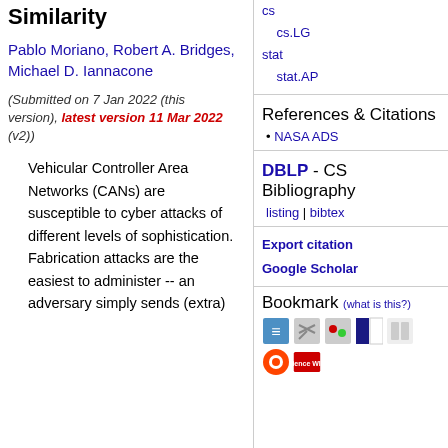Similarity
Pablo Moriano, Robert A. Bridges, Michael D. Iannacone
(Submitted on 7 Jan 2022 (this version), latest version 11 Mar 2022 (v2))
Vehicular Controller Area Networks (CANs) are susceptible to cyber attacks of different levels of sophistication. Fabrication attacks are the easiest to administer -- an adversary simply sends (extra)
cs
    cs.LG
stat
    stat.AP
References & Citations
NASA ADS
DBLP - CS Bibliography
listing | bibtex
Export citation
Google Scholar
Bookmark (what is this?)
[Figure (other): Bookmark service icons: Mendeley, CiteULike, del.icio.us, Digg, Reddit, ScienceWISE]